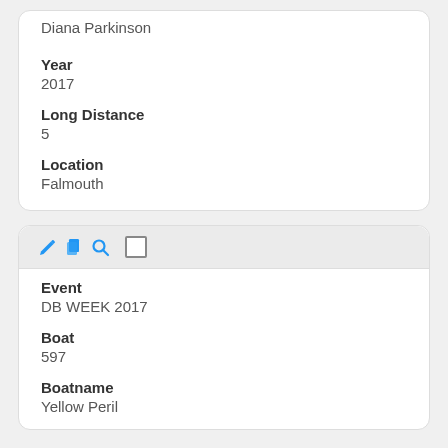Diana Parkinson
Year
2017
Long Distance
5
Location
Falmouth
Event
DB WEEK 2017
Boat
597
Boatname
Yellow Peril